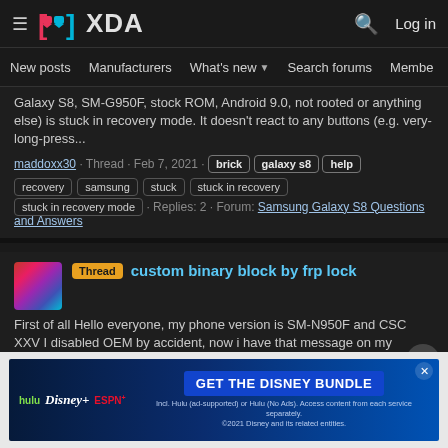XDA Developers — Log in
New posts | Manufacturers | What's new | Search forums | Members
Galaxy S8, SM-G950F, stock ROM, Android 9.0, not rooted or anything else) is stuck in recovery mode. It doesn't react to any buttons (e.g. very-long-press...
maddoxx30 · Thread · Feb 7, 2021 · brick galaxy s8 help recovery samsung stuck stuck in recovery stuck in recovery mode · Replies: 2 · Forum: Samsung Galaxy S8 Questions and Answers
Thread  custom binary block by frp lock
First of all Hello everyone, my phone version is SM-N950F and CSC XXV I disabled OEM by accident, now i have that message on my phone, so i tried flashing it with ODIN and an updated version of my phone, but i keep getting Fails no matter the firmware i use, for example "about bin fail", can...
[Figure (screenshot): Hulu Disney+ ESPN+ advertisement banner: GET THE DISNEY BUNDLE. Incl. Hulu (ad-supported) or Hulu (No Ads). Access content from each service separately. ©2021 Disney and its related entities.]